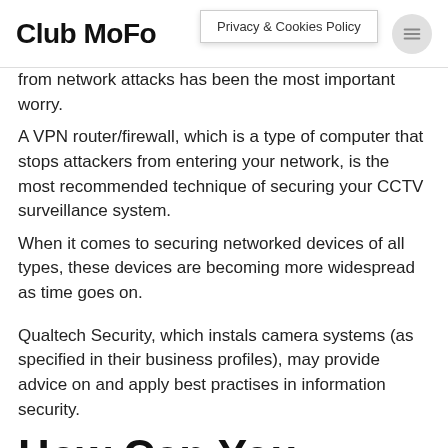Club MoFo | Privacy & Cookies Policy
from network attacks has been the most important worry.
A VPN router/firewall, which is a type of computer that stops attackers from entering your network, is the most recommended technique of securing your CCTV surveillance system.
When it comes to securing networked devices of all types, these devices are becoming more widespread as time goes on.
Qualtech Security, which instals camera systems (as specified in their business profiles), may provide advice on and apply best practises in information security.
How Can You